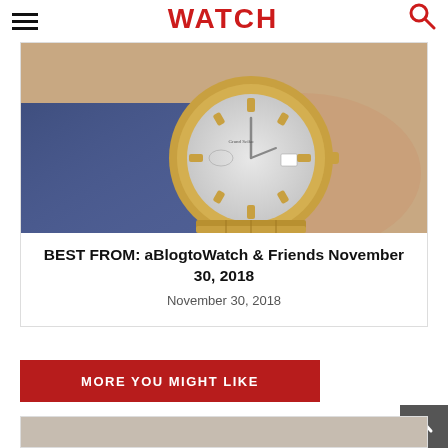WATCH
[Figure (photo): Close-up of a Grand Seiko watch with white textured dial and gold-tone case on a wrist wearing blue fabric]
BEST FROM: aBlogtoWatch & Friends November 30, 2018
November 30, 2018
MORE YOU MIGHT LIKE
[Figure (photo): Partial view of another article card image at bottom of page]